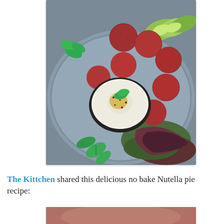[Figure (photo): Overhead photo of red/beet falafel balls on a decorative grey plate with a bowl of white hummus/tahini dip drizzled with olive oil and black sesame seeds, garnished with fresh mint leaves, sliced avocado, and mixed salad greens.]
The Kittchen shared this delicious no bake Nutella pie recipe:
[Figure (photo): Partial view of a food photo at the bottom of the page, appears to show a dessert or pie.]